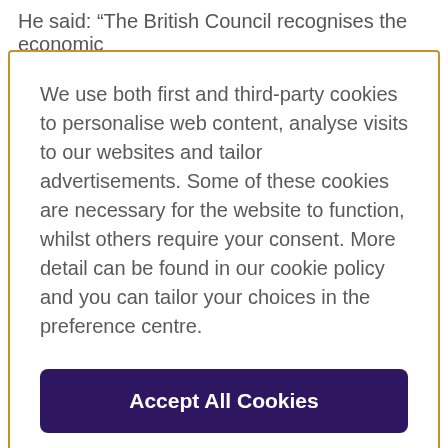He said: “The British Council recognises the economic
We use both first and third-party cookies to personalise web content, analyse visits to our websites and tailor advertisements. Some of these cookies are necessary for the website to function, whilst others require your consent. More detail can be found in our cookie policy and you can tailor your choices in the preference centre.
Accept All Cookies
Cookies Settings